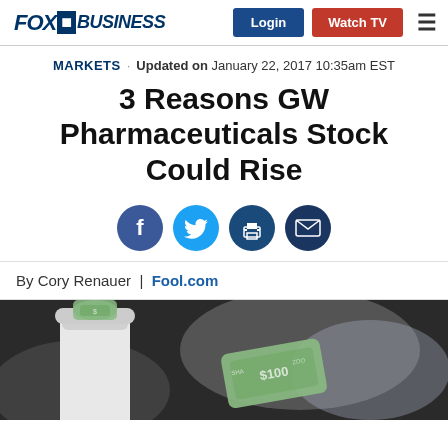FOX BUSINESS | Login | Watch TV
MARKETS · Updated on January 22, 2017 10:35am EST
3 Reasons GW Pharmaceuticals Stock Could Rise
[Figure (infographic): Social sharing icons: Facebook, Twitter, Print, Email]
By Cory Renauer | Fool.com
[Figure (photo): Close-up photo of a white pill bottle with a rolled $100 bill inserted in it, blurred background]